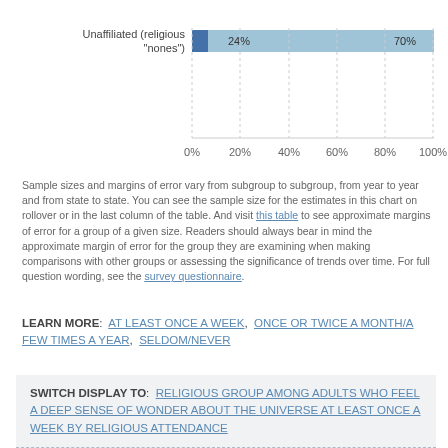[Figure (bar-chart): ]
Sample sizes and margins of error vary from subgroup to subgroup, from year to year and from state to state. You can see the sample size for the estimates in this chart on rollover or in the last column of the table. And visit this table to see approximate margins of error for a group of a given size. Readers should always bear in mind the approximate margin of error for the group they are examining when making comparisons with other groups or assessing the significance of trends over time. For full question wording, see the survey questionnaire.
LEARN MORE: AT LEAST ONCE A WEEK, ONCE OR TWICE A MONTH/A FEW TIMES A YEAR, SELDOM/NEVER
SWITCH DISPLAY TO: RELIGIOUS GROUP AMONG ADULTS WHO FEEL A DEEP SENSE OF WONDER ABOUT THE UNIVERSE AT LEAST ONCE A WEEK BY RELIGIOUS ATTENDANCE